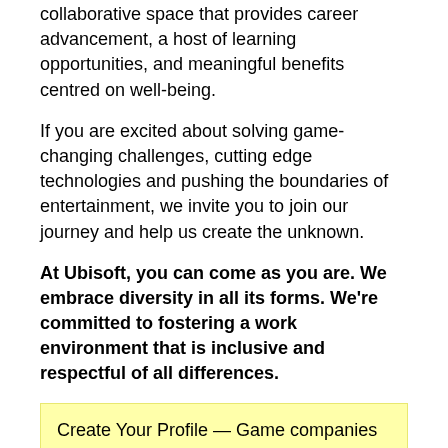collaborative space that provides career advancement, a host of learning opportunities, and meaningful benefits centred on well-being.
If you are excited about solving game-changing challenges, cutting edge technologies and pushing the boundaries of entertainment, we invite you to join our journey and help us create the unknown.
At Ubisoft, you can come as you are. We embrace diversity in all its forms. We're committed to fostering a work environment that is inclusive and respectful of all differences.
Create Your Profile — Game companies can contact you with their relevant job openings.
Apply
Save
Jobs at Ubisoft